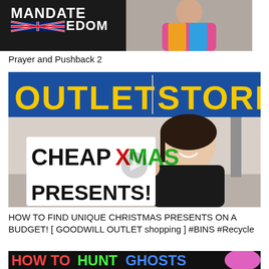[Figure (photo): Thumbnail image partially visible at top showing text 'MANDATE FREEDOM' with a UK flag and a person in colorful clothing]
Prayer and Pushback 2
[Figure (photo): Thumbnail image of a woman smiling in front of a Goodwill Outlet Store sign, with overlay text reading 'CHEAP XMAS PRESENTS!' in bold black, red, and green letters]
HOW TO FIND UNIQUE CHRISTMAS PRESENTS ON A BUDGET! [ GOODWILL OUTLET shopping ] #BINS #Recycle
[Figure (photo): Partial thumbnail at bottom showing colorful text 'HOW TO HUNT GHOSTS' and a person with pink/purple hair]